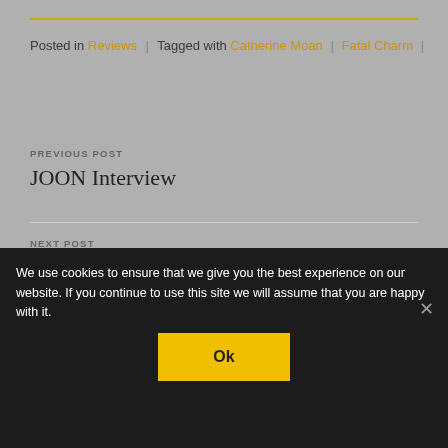Posted in Reviews | Tagged with Catherine Moan | Fatal Charm |
PREVIOUS POST
JOON Interview
NEXT POST
TOBIAS BERNSTRUP Petrichor
We use cookies to ensure that we give you the best experience on our website. If you continue to use this site we will assume that you are happy with it.
Ok
© 2017 ELECTRICITY.CO.UK | Email: theelectricity...@googlemail.com
Privacy Policy | Sign Up ↑